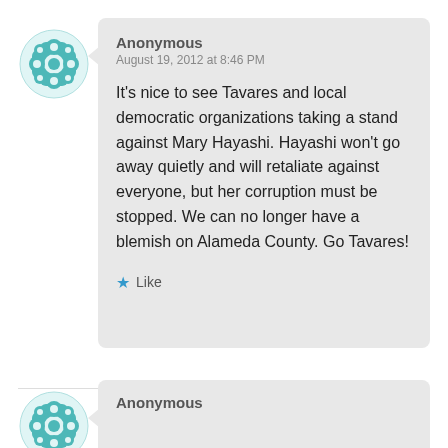[Figure (illustration): Teal decorative avatar icon with flower/cross pattern, first comment]
Anonymous
August 19, 2012 at 8:46 PM

It's nice to see Tavares and local democratic organizations taking a stand against Mary Hayashi. Hayashi won't go away quietly and will retaliate against everyone, but her corruption must be stopped. We can no longer have a blemish on Alameda County. Go Tavares!

★ Like
[Figure (illustration): Teal decorative avatar icon with flower/cross pattern, second comment]
Anonymous